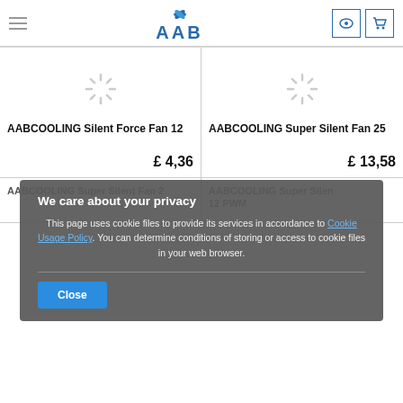AAB Cooling - navigation header with logo and icons
[Figure (screenshot): Loading spinner icon for product image (AABCOOLING Silent Force Fan 12)]
AABCOOLING Silent Force Fan 12
£ 4,36
[Figure (screenshot): Loading spinner icon for product image (AABCOOLING Super Silent Fan 25)]
AABCOOLING Super Silent Fan 25
£ 13,58
AABCOOLING Super Silent Fan 2 (partial, obscured)
AABCOOLING Super Silen 12 PWM (partial, obscured)
We care about your privacy
This page uses cookie files to provide its services in accordance to Cookie Usage Policy. You can determine conditions of storing or access to cookie files in your web browser.
Close